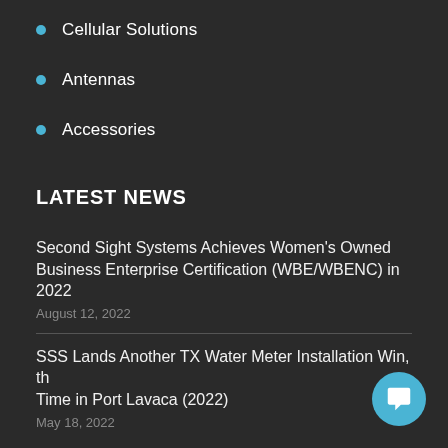Cellular Solutions
Antennas
Accessories
LATEST NEWS
Second Sight Systems Achieves Women's Owned Business Enterprise Certification (WBE/WBENC) in 2022
August 12, 2022
SSS Lands Another TX Water Meter Installation Win, th Time in Port Lavaca (2022)
May 18, 2022